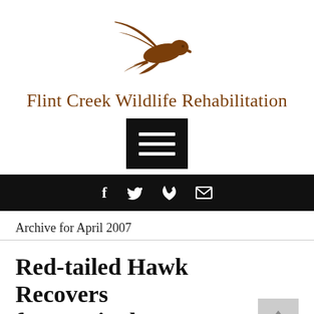[Figure (logo): Brown hawk/raptor silhouette flying, facing right, used as logo for Flint Creek Wildlife Rehabilitation]
Flint Creek Wildlife Rehabilitation
[Figure (other): Black square button with three horizontal white lines (hamburger menu icon)]
[Figure (other): Black horizontal social media bar with Facebook (f), Twitter (bird), phone, and email icons in white]
Archive for April 2007
Red-tailed Hawk Recovers from Spinal Trauma